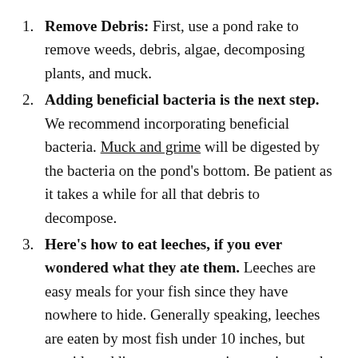Remove Debris: First, use a pond rake to remove weeds, debris, algae, decomposing plants, and muck.
Adding beneficial bacteria is the next step. We recommend incorporating beneficial bacteria. Muck and grime will be digested by the bacteria on the pond's bottom. Be patient as it takes a while for all that debris to decompose.
Here’s how to eat leeches, if you ever wondered what they ate them. Leeches are easy meals for your fish since they have nowhere to hide. Generally speaking, leeches are eaten by most fish under 10 inches, but consider adding more aggressive species, such as redear sunfish or bass.
Leech Traps: Leeches that evade your fish can be trapped and removed with bait. Prepare a coffee or